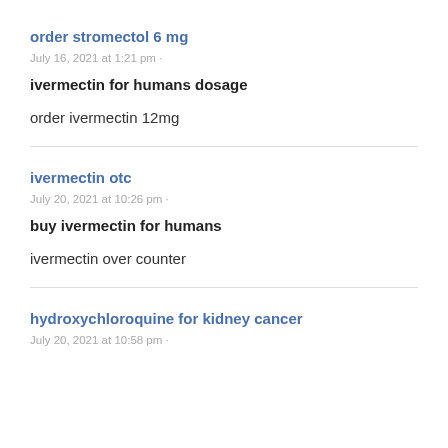order stromectol 6 mg
July 16, 2021 at 1:21 pm ·
ivermectin for humans dosage
order ivermectin 12mg
ivermectin otc
July 20, 2021 at 10:26 pm ·
buy ivermectin for humans
ivermectin over counter
hydroxychloroquine for kidney cancer
July 20, 2021 at 10:58 pm ·